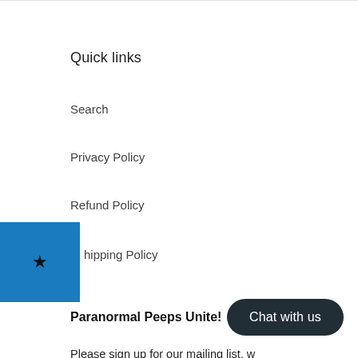Quick links
Search
Privacy Policy
Refund Policy
[Figure (other): Blue rectangle with a black star icon, overlapping left edge of page]
Shipping Policy
Paranormal Peeps Unite!
Please sign up for our mailing list, w sending coupons and letting people upcoming promotions and events.
[Figure (other): Dark rounded rectangle chat button with text 'Chat with us']